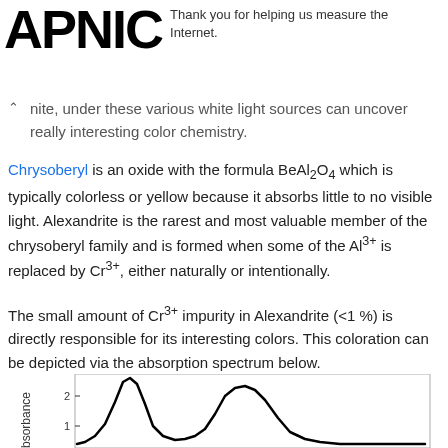APNIC — Thank you for helping us measure the Internet.
nite, under these various white light sources can uncover really interesting color chemistry.
Chrysoberyl is an oxide with the formula BeAl2O4 which is typically colorless or yellow because it absorbs little to no visible light. Alexandrite is the rarest and most valuable member of the chrysoberyl family and is formed when some of the Al3+ is replaced by Cr3+, either naturally or intentionally.
The small amount of Cr3+ impurity in Alexandrite (<1 %) is directly responsible for its interesting colors. This coloration can be depicted via the absorption spectrum below.
[Figure (continuous-plot): Absorption spectrum of Alexandrite showing Absorbance on the y-axis (with tick marks at 1 and 2) and two peaks visible — a taller, narrower peak on the left and a broader, slightly shorter peak on the right.]